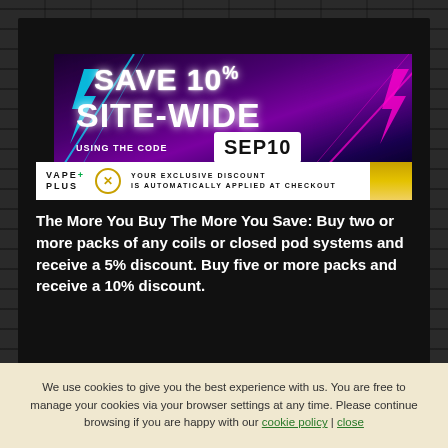[Figure (screenshot): Promotional banner for Vape Plus showing 'SAVE 10% SITE-WIDE USING THE CODE SEP10' with neon purple and cyan lighting effects on dark background, with a Vape Plus branding bar below showing exclusive discount text]
The More You Buy The More You Save: Buy two or more packs of any coils or closed pod systems and receive a 5% discount. Buy five or more packs and receive a 10% discount.
We use cookies to give you the best experience with us. You are free to manage your cookies via your browser settings at any time. Please continue browsing if you are happy with our cookie policy | close